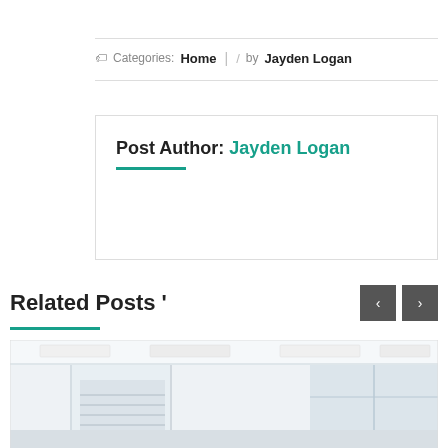Categories: Home | / by Jayden Logan
Post Author: Jayden Logan
Related Posts '
[Figure (photo): Interior office space with glass walls, staircase, and ceiling lighting panels]